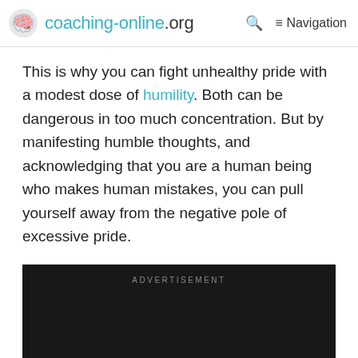coaching-online.org  Navigation
This is why you can fight unhealthy pride with a modest dose of humility. Both can be dangerous in too much concentration. But by manifesting humble thoughts, and acknowledging that you are a human being who makes human mistakes, you can pull yourself away from the negative pole of excessive pride.
[Figure (other): Dark advertisement block with text 'ADVERTISEMENT' in grey uppercase letters on a black background]